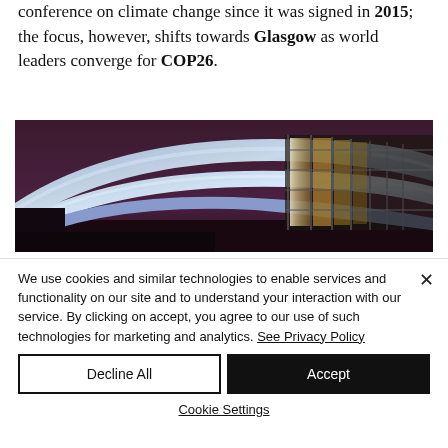conference on climate change since it was signed in 2015; the focus, however, shifts towards Glasgow as world leaders converge for COP26.
[Figure (photo): Nighttime architectural photograph of a large curved metallic building structure with blue-tinted lighting, showing structural steel and glass elements.]
We use cookies and similar technologies to enable services and functionality on our site and to understand your interaction with our service. By clicking on accept, you agree to our use of such technologies for marketing and analytics. See Privacy Policy
Decline All
Accept
Cookie Settings